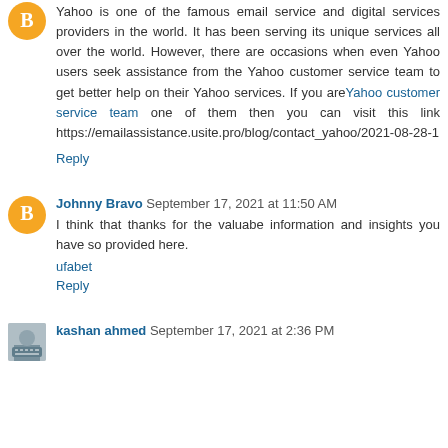Yahoo is one of the famous email service and digital services providers in the world. It has been serving its unique services all over the world. However, there are occasions when even Yahoo users seek assistance from the Yahoo customer service team to get better help on their Yahoo services. If you are Yahoo customer service team one of them then you can visit this link https://emailassistance.usite.pro/blog/contact_yahoo/2021-08-28-1
Reply
Johnny Bravo  September 17, 2021 at 11:50 AM
I think that thanks for the valuabe information and insights you have so provided here.
ufabet
Reply
kashan ahmed  September 17, 2021 at 2:36 PM